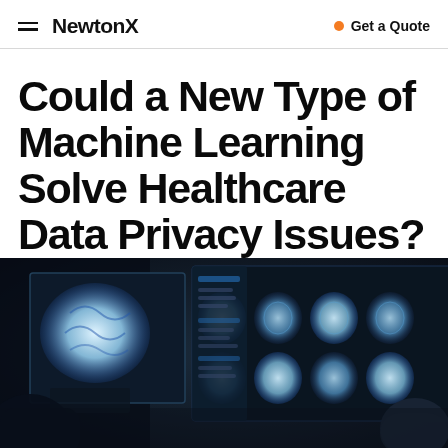NewtonX | Get a Quote
Could a New Type of Machine Learning Solve Healthcare Data Privacy Issues?
[Figure (photo): Two people in a darkened room reviewing brain MRI scans displayed on multiple monitors, with glowing blue medical imaging screens showing cross-sectional brain images.]